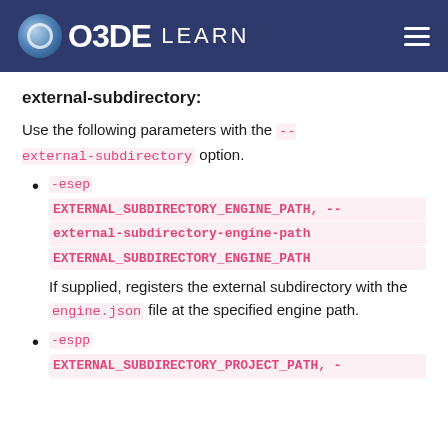O3DE LEARN
external-subdirectory:
Use the following parameters with the --external-subdirectory option.
-esep EXTERNAL_SUBDIRECTORY_ENGINE_PATH, --external-subdirectory-engine-path EXTERNAL_SUBDIRECTORY_ENGINE_PATH
If supplied, registers the external subdirectory with the engine.json file at the specified engine path.
-espp EXTERNAL_SUBDIRECTORY_PROJECT_PATH, -